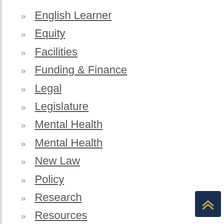English Learner
Equity
Facilities
Funding & Finance
Legal
Legislature
Mental Health
Mental Health
New Law
Policy
Research
Resources